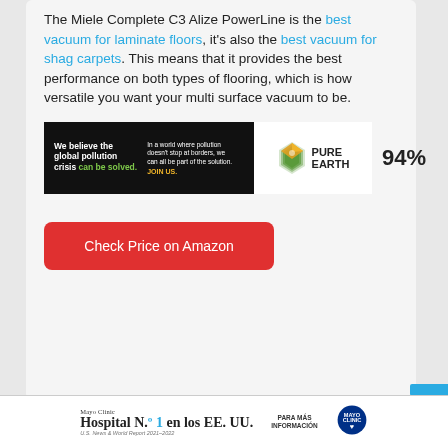The Miele Complete C3 Alize PowerLine is the best vacuum for laminate floors, it's also the best vacuum for shag carpets. This means that it provides the best performance on both types of flooring, which is how versatile you want your multi surface vacuum to be.
[Figure (infographic): Ad banner: left black section with 'We believe the global pollution crisis can be solved.' and 'In a world where pollution doesn't stop at borders, we can all be part of the solution. JOIN US.' Right white section with Pure Earth diamond logo and text 'PURE EARTH'. 94% label to the right.]
Check Price on Amazon
[Figure (infographic): Mayo Clinic footer ad: 'Mayo Clinic Hospital N.1 en los EE. UU. U.S. News & World Report 2021-2022' with 'PARA MAS INFORMACION' and Mayo Clinic shield logo.]